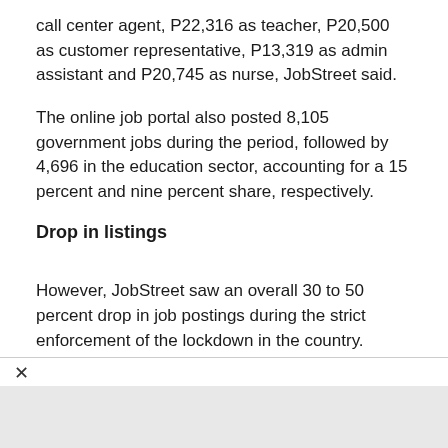call center agent, P22,316 as teacher, P20,500 as customer representative, P13,319 as admin assistant and P20,745 as nurse, JobStreet said.
The online job portal also posted 8,105 government jobs during the period, followed by 4,696 in the education sector, accounting for a 15 percent and nine percent share, respectively.
Drop in listings
However, JobStreet saw an overall 30 to 50 percent drop in job postings during the strict enforcement of the lockdown in the country.